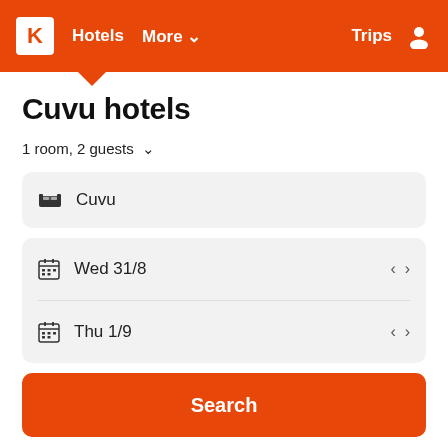K  Hotels  More  Trips
Cuvu hotels
1 room, 2 guests
Cuvu
Wed 31/8
Thu 1/9
Search
Search hundreds of travel sites at once for hotels in